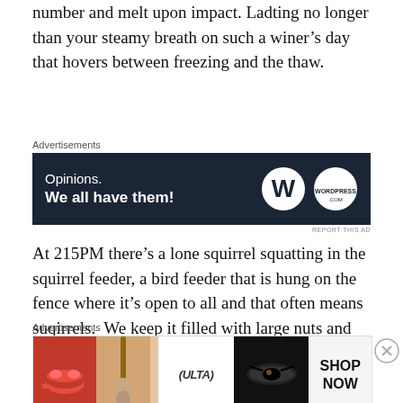number and melt upon impact. Ladting no longer than your steamy breath on such a winer's day that hovers between freezing and the thaw.
[Figure (screenshot): Advertisement banner with dark navy background showing 'Opinions. We all have them!' text with WordPress and WordPress.com logos]
At 215PM there’s a lone squirrel squatting in the squirrel feeder, a bird feeder that is hung on the fence where it’s open to all and that often means suqirrels.  We keep it filled with large nuts and thag inturn fills the squirrels.  A Fox Sparrow appears briefly on the far south fence of the the garden, then swiftly drops down into the tangle of vines on the neighbors’ side.  He’s only rarely seen
[Figure (screenshot): Ulta Beauty advertisement showing closeup photos of lips, makeup brush, eyes and 'SHOP NOW' call to action]